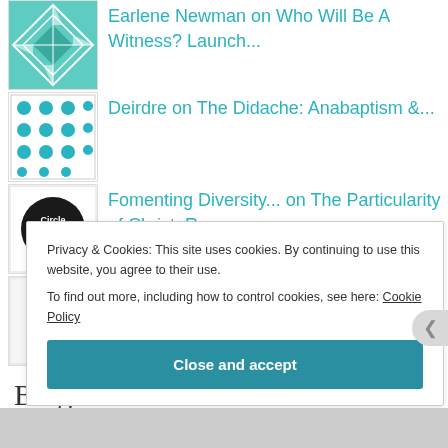Earlene Newman on Who Will Be A Witness? Launch...
Deirdre on The Didache: Anabaptism &...
Fomenting Diversity... on The Particularity of Christ: R...
Anabaptism and Black... on The Didache: Anabaptism &...
Blogroll
Privacy & Cookies: This site uses cookies. By continuing to use this website, you agree to their use.
To find out more, including how to control cookies, see here: Cookie Policy
Close and accept